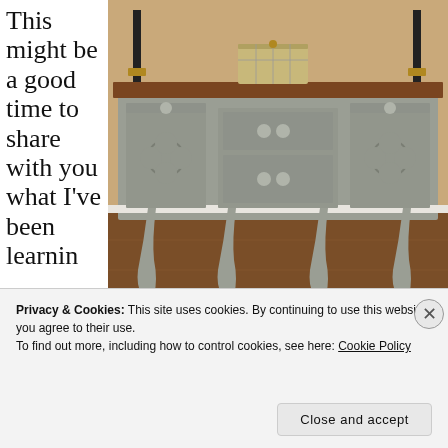This might be a good time to share with you what I've been learnin
[Figure (photo): A grey painted antique sideboard/buffet with ornate drawer pulls and cabriole legs, wood top, styled with candlesticks and a decorative box.]
Privacy & Cookies: This site uses cookies. By continuing to use this website, you agree to their use.
To find out more, including how to control cookies, see here: Cookie Policy
Close and accept